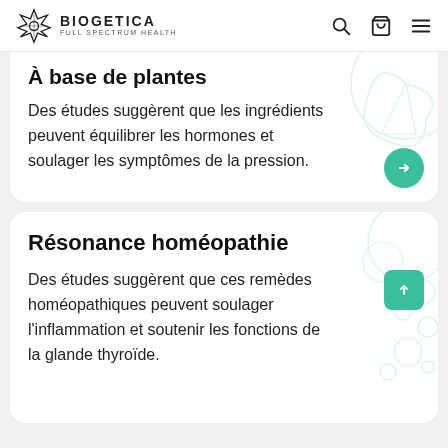BIOGETICA FULL SPECTRUM HEALTH
À base de plantes
Des études suggèrent que les ingrédients peuvent équilibrer les hormones et soulager les symptômes de la pression.
Résonance homéopathie
Des études suggèrent que ces remèdes homéopathiques peuvent soulager l'inflammation et soutenir les fonctions de la glande thyroïde.